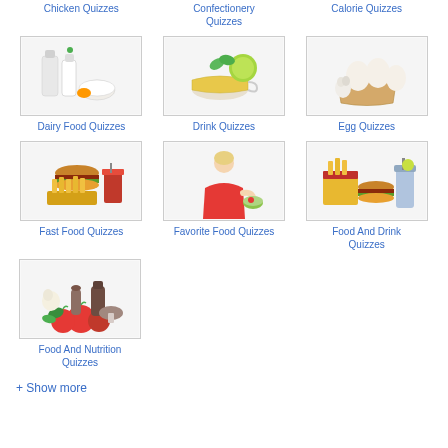Chicken Quizzes
Confectionery Quizzes
Calorie Quizzes
[Figure (photo): Dairy products including milk bottles and dairy items on white background]
Dairy Food Quizzes
[Figure (photo): Cup of tea or drink with lime and mint on white background]
Drink Quizzes
[Figure (photo): Eggs and garlic in a basket on white background]
Egg Quizzes
[Figure (photo): Fast food burger and fries on white background]
Fast Food Quizzes
[Figure (photo): Woman in red top eating a salad on white background]
Favorite Food Quizzes
[Figure (photo): Burger fries and cold drinks on white background]
Food And Drink Quizzes
[Figure (photo): Vegetables tomatoes herbs and spices on white background]
Food And Nutrition Quizzes
+ Show more